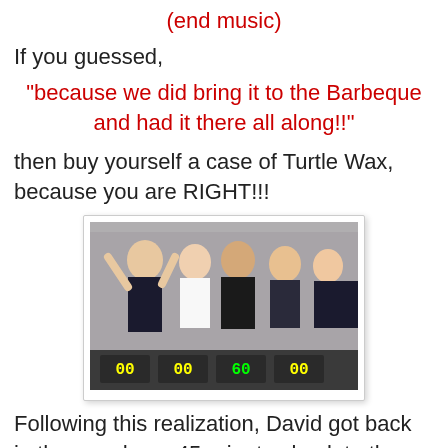(end music)
If you guessed,
"because we did bring it to the Barbeque and had it there all along!!"
then buy yourself a case of Turtle Wax, because you are RIGHT!!!
[Figure (photo): Group of people celebrating, some with arms raised, standing behind a scoreboard display with digital number panels showing 00 00 60 00]
Following this realization, David got back in the car, drove 45-minutes back to the BBQ, retrieved the diaper bag and then drove forty-five more minutes home, while I put an angry Snood monster in the